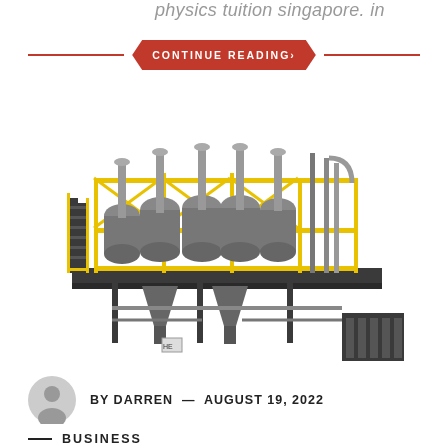physics tuition singapore. in
[Figure (infographic): Red chevron/arrow-shaped button with white uppercase text CONTINUE READING> flanked by red horizontal lines on left and right]
[Figure (photo): Industrial machinery with yellow metal scaffolding, multiple cylindrical reactors/vessels, piping, and hopper units on a raised platform structure]
BY DARREN — AUGUST 19, 2022
— BUSINESS